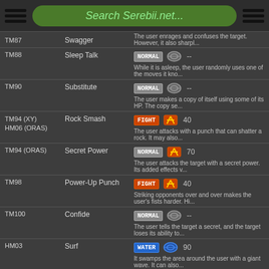Search Serebii.net...
| TM/HM | Move | Type/Category/Power | Description |
| --- | --- | --- | --- |
| TM87 | Swagger | NORMAL / Status / -- | The user enrages and confuses the target. However, it also sharply... |
| TM88 | Sleep Talk | NORMAL / Status / -- | While it is asleep, the user randomly uses one of the moves it kno... |
| TM90 | Substitute | NORMAL / Status / -- | The user makes a copy of itself using some of its HP. The copy se... |
| TM94 (XY) HM06 (ORAS) | Rock Smash | FIGHT / Physical / 40 | The user attacks with a punch that can shatter a rock. It may also... |
| TM94 (ORAS) | Secret Power | NORMAL / Physical / 70 | The user attacks the target with a secret power. Its added effects v... |
| TM98 | Power-Up Punch | FIGHT / Physical / 40 | Striking opponents over and over makes the user's fists harder. Hi... |
| TM100 | Confide | NORMAL / Status / -- | The user tells the target a secret, and the target loses its ability to... |
| HM03 | Surf | WATER / Special / 90 | It swamps the area around the user with a giant wave. It can also... |
| HM04 | Strength | NORMAL / Physical / 80 | The target is slugged with a punch thrown at maximum power. It... |